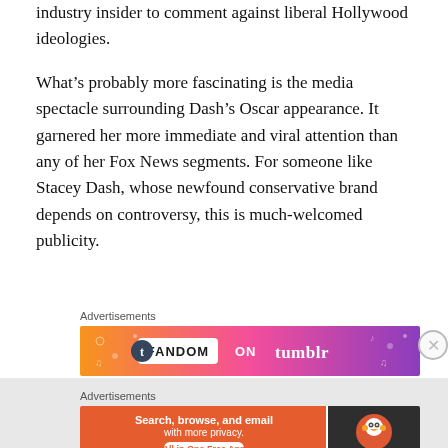industry insider to comment against liberal Hollywood ideologies.
What’s probably more fascinating is the media spectacle surrounding Dash’s Oscar appearance. It garnered her more immediate and viral attention than any of her Fox News segments. For someone like Stacey Dash, whose newfound conservative brand depends on controversy, this is much-welcomed publicity.
Advertisements
[Figure (screenshot): Fandom on Tumblr advertisement banner with orange-to-purple gradient and music/fandom icons]
REPORT THIS AD
Advertisements
[Figure (screenshot): DuckDuckGo advertisement banner: Search, browse, and email with more privacy. All in One Free App]
REPORT THIS AD